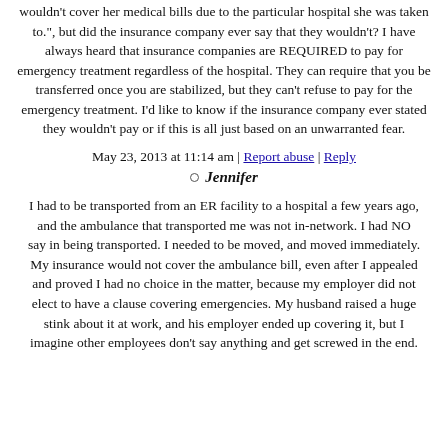wouldn't cover her medical bills due to the particular hospital she was taken to.", but did the insurance company ever say that they wouldn't? I have always heard that insurance companies are REQUIRED to pay for emergency treatment regardless of the hospital. They can require that you be transferred once you are stabilized, but they can't refuse to pay for the emergency treatment. I'd like to know if the insurance company ever stated they wouldn't pay or if this is all just based on an unwarranted fear.
May 23, 2013 at 11:14 am | Report abuse | Reply
Jennifer
I had to be transported from an ER facility to a hospital a few years ago, and the ambulance that transported me was not in-network. I had NO say in being transported. I needed to be moved, and moved immediately. My insurance would not cover the ambulance bill, even after I appealed and proved I had no choice in the matter, because my employer did not elect to have a clause covering emergencies. My husband raised a huge stink about it at work, and his employer ended up covering it, but I imagine other employees don't say anything and get screwed in the end.